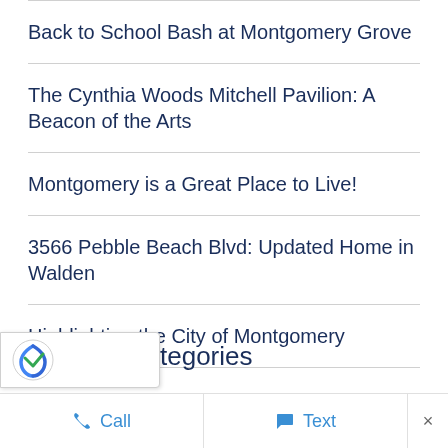Back to School Bash at Montgomery Grove
The Cynthia Woods Mitchell Pavilion: A Beacon of the Arts
Montgomery is a Great Place to Live!
3566 Pebble Beach Blvd: Updated Home in Walden
Highlighting the City of Montgomery
tegories
Call   Text   ×